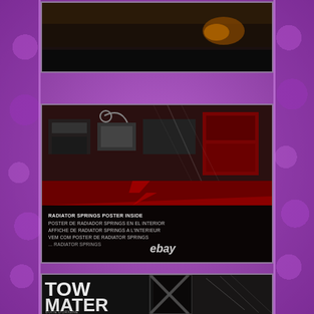[Figure (photo): Top photo showing a dark product package with eBay watermark overlay]
[Figure (photo): Middle photo showing close-up of a toy/collectible package (Cars movie Tow Mater) with damaged plastic wrap and packaging. Text reads: RADIATOR SPRINGS POSTER INSIDE / POSTER DE RADIADOR SPRINGS EN EL INTERIOR / AFFICHE DE RADIATOR SPRINGS A L'INTERIEUR / VEM COM POSTER DE RADIATOR SPRINGS. eBay watermark visible.]
[Figure (photo): Bottom photo showing lower portion of the same toy package with TOW MATER text visible and scratched plastic wrap.]